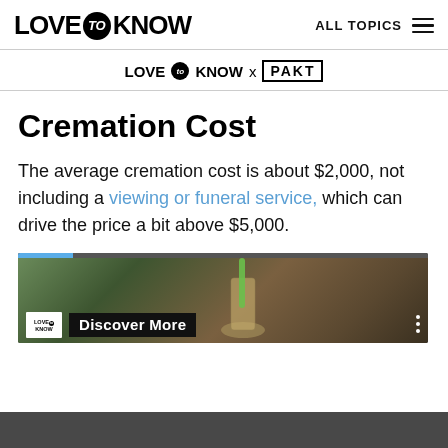LOVE to KNOW   ALL TOPICS
[Figure (logo): LoveToKnow x PAKT partnership logo bar]
Cremation Cost
The average cremation cost is about $2,000, not including a viewing or funeral service, which can drive the price a bit above $5,000.
[Figure (screenshot): Video player thumbnail showing a mason jar with a green straw, with LoveToKnow logo badge and 'Discover More' overlay text, and a progress bar at top]